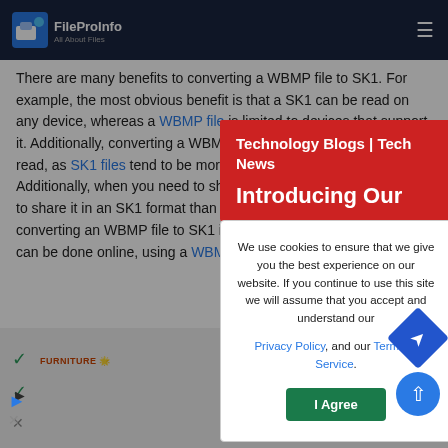FileProInfo — All About Files
There are many benefits to converting a WBMP file to SK1. For example, the most obvious benefit is that a SK1 can be read on any device, whereas a WBMP file is limited to devices that support it. Additionally, converting a WBMP to SK1 makes the text easier to read, as SK1 files tend to be more readable than WBMP files. Additionally, when you need to share a document, it is often easier to share it in an SK1 format than in a WBMP format. Finally, converting an WBMP file to SK1 is a relatively simple process that can be done online, using a WBMP to SK1 converter.
[Figure (screenshot): Technology Blogs | Tech News banner overlay with red background and close button]
We use cookies to ensure that we give you the best experience on our website. If you continue to use this site we will assume that you accept and understand our Privacy Policy, and our Terms of Service.
I Agree
[Figure (screenshot): Advertisement area with furniture logo, checkmarks, play and close icons, navigation arrow, and scroll-to-top button]